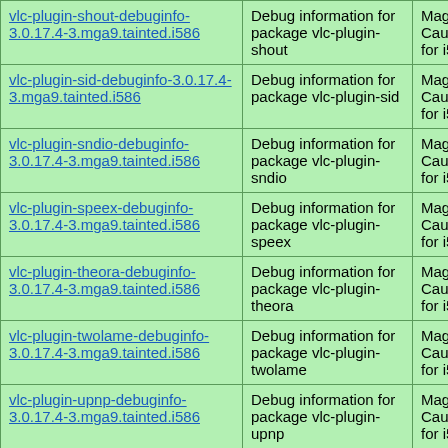| vlc-plugin-shout-debuginfo-3.0.17.4-3.mga9.tainted.i586 | Debug information for package vlc-plugin-shout | Mageia Cauldron for i586 |
| vlc-plugin-sid-debuginfo-3.0.17.4-3.mga9.tainted.i586 | Debug information for package vlc-plugin-sid | Mageia Cauldron for i586 |
| vlc-plugin-sndio-debuginfo-3.0.17.4-3.mga9.tainted.i586 | Debug information for package vlc-plugin-sndio | Mageia Cauldron for i586 |
| vlc-plugin-speex-debuginfo-3.0.17.4-3.mga9.tainted.i586 | Debug information for package vlc-plugin-speex | Mageia Cauldron for i586 |
| vlc-plugin-theora-debuginfo-3.0.17.4-3.mga9.tainted.i586 | Debug information for package vlc-plugin-theora | Mageia Cauldron for i586 |
| vlc-plugin-twolame-debuginfo-3.0.17.4-3.mga9.tainted.i586 | Debug information for package vlc-plugin-twolame | Mageia Cauldron for i586 |
| vlc-plugin-upnp-debuginfo-3.0.17.4-3.mga9.tainted.i586 | Debug information for package vlc-plugin-upnp | Mageia Cauldron for i586 |
| vlc-plugin-vdpau-debuginfo-3.0.17.4-3.mga9.tainted.i586 | Debug information for package vlc-plugin-vdpau | Mageia Cauldron for i586 |